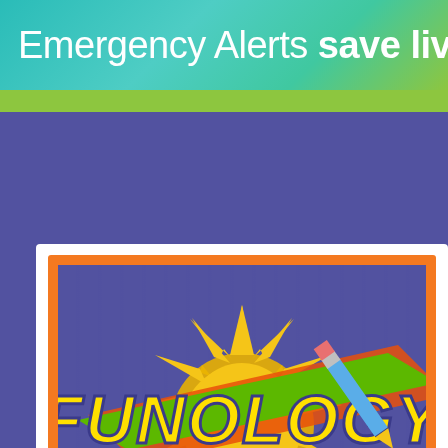Emergency Alerts save live
[Figure (screenshot): Funology website screenshot showing the Funology logo (yellow bubble letters on green banner with orange starburst) on a purple striped background, with navigation links: Home, Crafts, Recipes, Science, Magic, Games, Jokes, Trivia, Blog]
Home   Crafts   Recipes   Science   Magic   Games   Jokes   Trivia   Blog